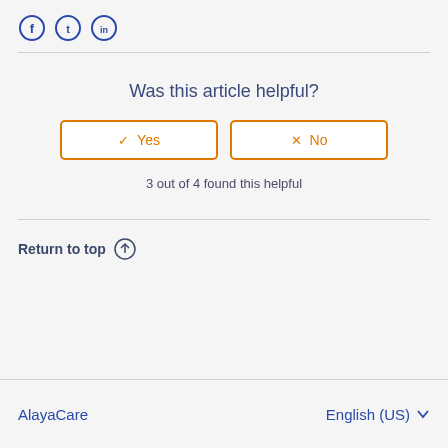[Figure (other): Social media icons: Facebook, Twitter, LinkedIn circles]
Was this article helpful?
[Figure (other): Yes and No feedback buttons with orange borders]
3 out of 4 found this helpful
Return to top ↑
AlayaCare    English (US)